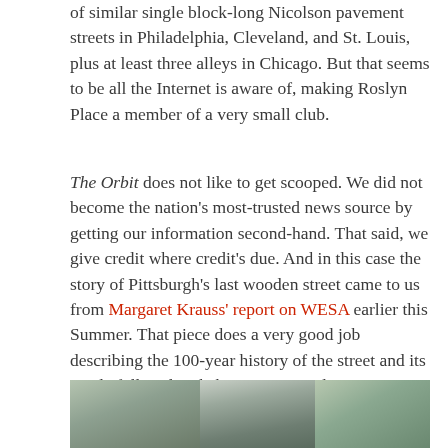of similar single block-long Nicolson pavement streets in Philadelphia, Cleveland, and St. Louis, plus at least three alleys in Chicago. But that seems to be all the Internet is aware of, making Roslyn Place a member of a very small club.
The Orbit does not like to get scooped. We did not become the nation's most-trusted news source by getting our information second-hand. That said, we give credit where credit's due. And in this case the story of Pittsburgh's last wooden street came to us from Margaret Krauss' report on WESA earlier this Summer. That piece does a very good job describing the 100-year history of the street and its single full-scale rehab in 1985. Readers are encouraged to go straight to the source for those details*.
[Figure (photo): Street-level photograph showing trees and buildings, appears to be a view of Roslyn Place or a nearby Pittsburgh street. Three panels visible.]